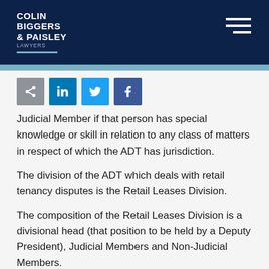COLIN BIGGERS & PAISLEY LAWYERS
[Figure (other): Social sharing icons: share (grey), LinkedIn (blue), Twitter (light blue), Facebook (dark blue)]
Judicial Member if that person has special knowledge or skill in relation to any class of matters in respect of which the ADT has jurisdiction.
The division of the ADT which deals with retail tenancy disputes is the Retail Leases Division.
The composition of the Retail Leases Division is a divisional head (that position to be held by a Deputy President), Judicial Members and Non-Judicial Members.
Jurisdiction of the Retail Leases